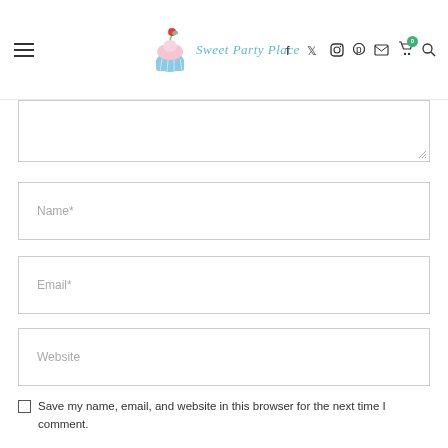Sweet Party Place — navigation header with hamburger menu, logo, and social/utility icons
[Figure (screenshot): Textarea input field (comment box) with resize handle at bottom-right]
Name*
Email*
Website
Save my name, email, and website in this browser for the next time I comment.
NOTIFY ME OF FOLLOW-UP COMMENTS BY EMAIL.
NOTIFY ME OF NEW POSTS BY EMAIL.